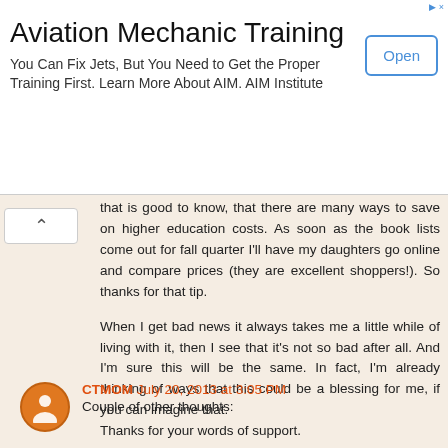[Figure (other): Advertisement banner for Aviation Mechanic Training by AIM Institute with an Open button]
that is good to know, that there are many ways to save on higher education costs. As soon as the book lists come out for fall quarter I'll have my daughters go online and compare prices (they are excellent shoppers!). So thanks for that tip.
When I get bad news it always takes me a little while of living with it, then I see that it's not so bad after all. And I'm sure this will be the same. In fact, I'm already thinking of ways that this could be a blessing for me, if you can imagine that.
Thanks for your words of support.
CTMOM July 20, 2013 at 3:05 PM
Couple of other thoughts: